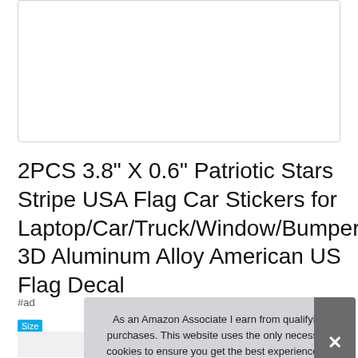[Figure (photo): Product image box (white/empty placeholder with border)]
2PCS 3.8" X 0.6" Patriotic Stars Stripe USA Flag Car Stickers for Laptop/Car/Truck/Window/Bumper, 3D Aluminum Alloy American US Flag Decal
#ad
Size
[Figure (photo): Product thumbnail images at bottom of page]
As an Amazon Associate I earn from qualifying purchases. This website uses the only necessary cookies to ensure you get the best experience on our website. More information